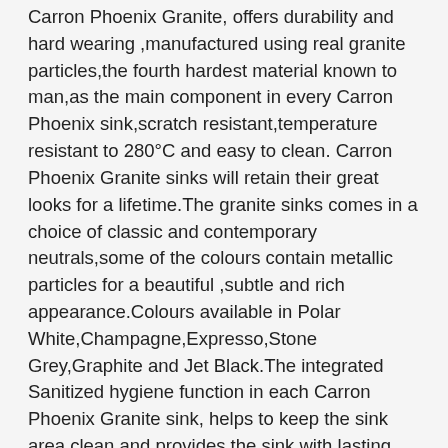Carron Phoenix Granite, offers durability and hard wearing ,manufactured using real granite particles,the fourth hardest material known to man,as the main component in every Carron Phoenix sink,scratch resistant,temperature resistant to 280°C and easy to clean. Carron Phoenix Granite sinks will retain their great looks for a lifetime.The granite sinks comes in a choice of classic and contemporary neutrals,some of the colours contain metallic particles for a beautiful ,subtle and rich appearance.Colours available in Polar White,Champagne,Expresso,Stone Grey,Graphite and Jet Black.The integrated Sanitized hygiene function in each Carron Phoenix Granite sink, helps to keep the sink area clean and provides the sink with lasting protection. Sanitized silver icons are embedded into the granite particles offering long term protection .Silver is an active ingredient that prevents microbes and bacteria from multiplying and tests have proven that Carron Phoenix Granite treated with Sanitized reduces bacteria and microbes by 99%.
The Stainless Steel sink is an established favourite because they are practical,hard-wearing and very easy to clean.The two finishes available are a polished finish and a linen finish.All the sinks are made from high quality austenitic stainless steel,ensuring lasting quality and performance.
With the Ceramic sink whether the kitchen design is traditional or contemporary,with its lustrous glossy glaze,a ceramic finish truly